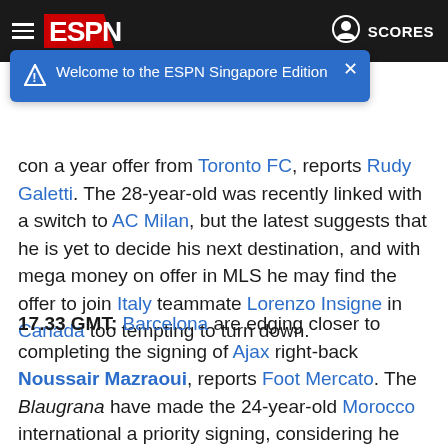ESPN - Welcome to the ESPN Singapore Edition
con a year offer from Toronto FC, reports Rudy Galetti. The 28-year-old was recently linked with a switch to AC Milan, but the latest suggests that he is yet to decide his next destination, and with mega money on offer in MLS he may find the offer to join Italy teammate Lorenzo Insigne in Canada too tempting to turn down.
17.33 GMT: Barcelona are edging closer to completing the signing of Ajax right-back Noussair Mazraoui, reports Foot Mercato. The Blaugrana have made the 24-year-old Morocco international a priority signing, considering he could arrive on a free transfer after his contract in Amsterdam expires this summer, and positive talks with agent Mino Raiola this week have eased the LaLiga club into pole position for his signature ahead of Borussia Dortmund.